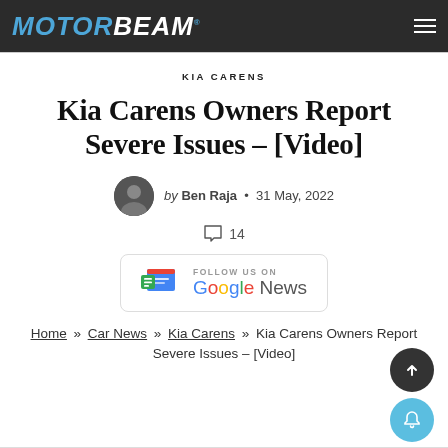MOTORBEAM
KIA CARENS
Kia Carens Owners Report Severe Issues – [Video]
by Ben Raja • 31 May, 2022
14
[Figure (logo): Follow us on Google News button/badge]
Home » Car News » Kia Carens » Kia Carens Owners Report Severe Issues – [Video]